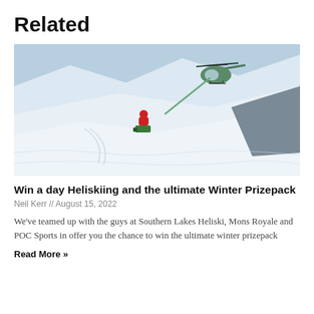Related
[Figure (photo): Aerial/mountain heliskiing scene: a helicopter on a snowy mountain slope with a person in red jacket and equipment in the snow, bright winter day, blue sky, snow-covered peaks.]
Win a day Heliskiing and the ultimate Winter Prizepack
Neil Kerr // August 15, 2022
We've teamed up with the guys at Southern Lakes Heliski, Mons Royale and POC Sports in offer you the chance to win the ultimate winter prizepack
Read More »